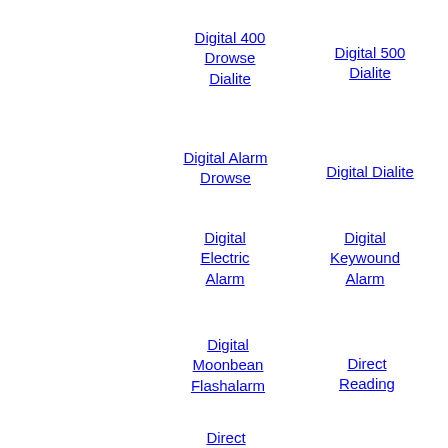Digital 400
Drowse
Dialite
Digital 500
Dialite
Digital Alarm
Drowse
Digital Dialite
Digital
Electric
Alarm
Digital
Keywound
Alarm
Digital
Moonbean
Flashalarm
Direct
Reading
Direct